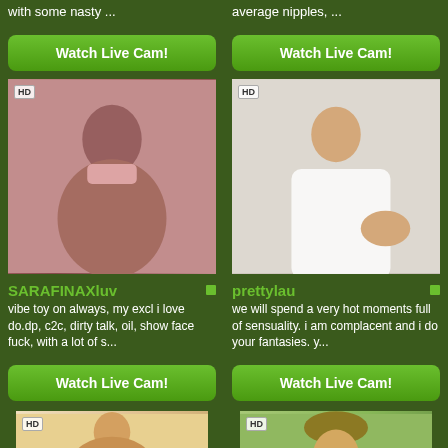with some nasty ...
average nipples, ...
Watch Live Cam!
Watch Live Cam!
[Figure (photo): HD thumbnail of SaraFinaXluv cam model in pink outfit]
[Figure (photo): HD thumbnail of prettylau cam model wrapped in white sheet on bed]
SARAFINAXluv
prettylau
vibe toy on always, my excl i love do.dp, c2c, dirty talk, oil, show face fuck, with a lot of s...
we will spend a very hot moments full of sensuality. i am complacent and i do your fantasies. y...
Watch Live Cam!
Watch Live Cam!
[Figure (photo): HD partial thumbnail bottom-left cam model]
[Figure (photo): HD partial thumbnail bottom-right cam model with hat]